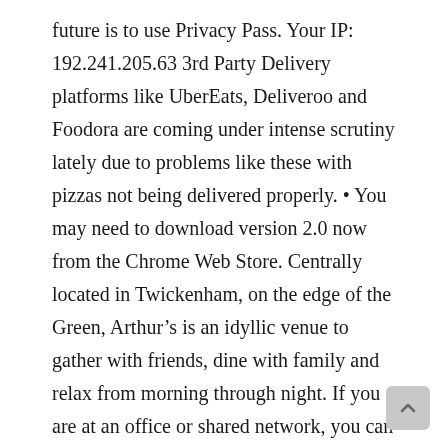future is to use Privacy Pass. Your IP: 192.241.205.63 3rd Party Delivery platforms like UberEats, Deliveroo and Foodora are coming under intense scrutiny lately due to problems like these with pizzas not being delivered properly. • You may need to download version 2.0 now from the Chrome Web Store. Centrally located in Twickenham, on the edge of the Green, Arthur's is an idyllic venue to gather with friends, dine with family and relax from morning through night. If you are at an office or shared network, you can ask the network administrator to run a scan across the network looking for misconfigured or infected devices. ... Download Deliveroo in the App Store. If you are on a personal connection, like at home, you can run an anti-virus scan on your device to make sure it is not infected with malware. The best Pizza from restaurant Arthurs Pizza now delivered to your home and office via